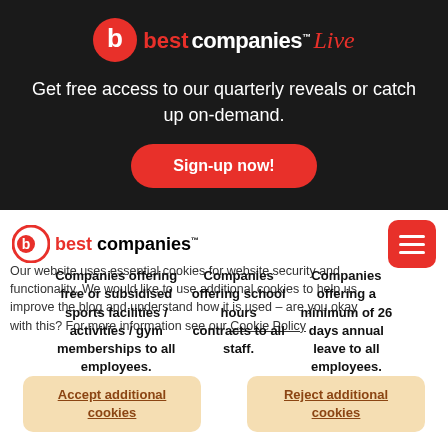[Figure (logo): Best Companies Live logo with red circle b icon, white 'best companies' text with trademark, red italic 'Live' text]
Get free access to our quarterly reveals or catch up on-demand.
Sign-up now!
[Figure (logo): Best Companies logo - red circle b, red 'best' and black 'companies' text with trademark superscript]
Our website uses essential cookies for website security and functionality. We would like to use additional cookies to help us improve the blog and understand how it is used – are you okay with this? For more information see our Cookie Policy
| Companies offering free or subsidised sports facilities / activities / gym memberships to all employees. | Companies offering school hours contracts to all staff. | Companies offering a minimum of 26 days annual leave to all employees. |
| --- | --- | --- |
Accept additional cookies
Reject additional cookies